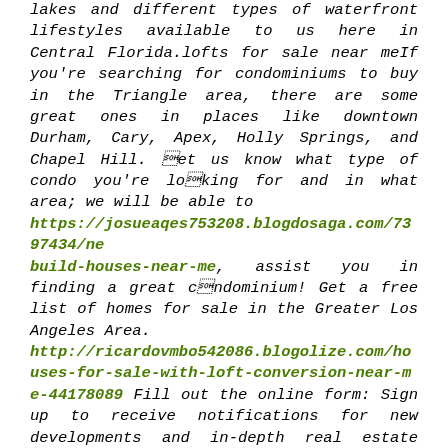lakes and different types of waterfront lifestyles available to us here in Central Florida.lofts for sale near meIf you're searching for condominiums to buy in the Triangle area, there are some great ones in places like downtown Durham, Cary, Apex, Holly Springs, and Chapel Hill. Let us know what type of condo you're looking for and in what area; we will be able to https://josueaqes753208.blogdosaga.com/7397434/ne build-houses-near-me, assist you in finding a great condominium! Get a free list of homes for sale in the Greater Los Angeles Area. http://ricardovmbo542086.blogolize.com/houses-for-sale-with-loft-conversion-near-me-44178089 Fill out the online form: Sign up to receive notifications for new developments and in-depth real estate news. If you want to purchase a condo or loft with just 3.5% down, then an FHA loan is probably a good choice for you! As of last year, the Federal Housing Administration FHA announced